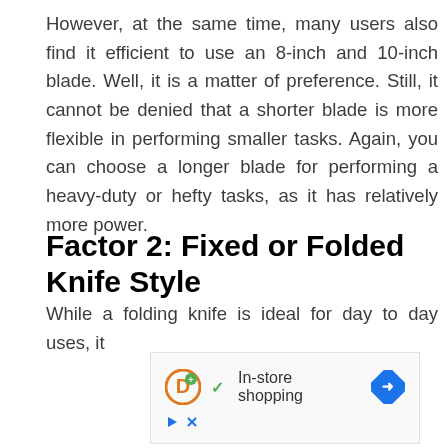However, at the same time, many users also find it efficient to use an 8-inch and 10-inch blade. Well, it is a matter of preference. Still, it cannot be denied that a shorter blade is more flexible in performing smaller tasks. Again, you can choose a longer blade for performing a heavy-duty or hefty tasks, as it has relatively more power.
Factor 2: Fixed or Folded Knife Style
While a folding knife is ideal for day to day uses, it
[Figure (other): Advertisement banner showing a circular D logo in orange and green, a green checkmark, text 'In-store shopping', and a blue diamond-shaped navigation arrow icon. Below are small play and close icons in blue.]